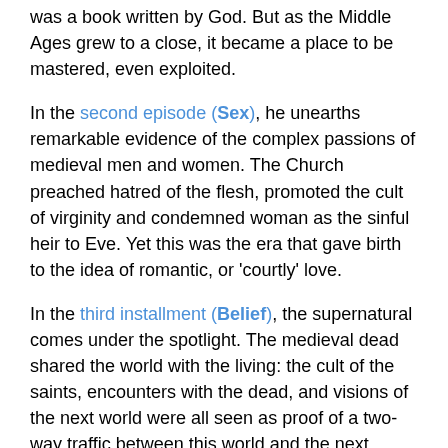was a book written by God. But as the Middle Ages grew to a close, it became a place to be mastered, even exploited.
In the second episode (Sex), he unearths remarkable evidence of the complex passions of medieval men and women. The Church preached hatred of the flesh, promoted the cult of virginity and condemned woman as the sinful heir to Eve. Yet this was the era that gave birth to the idea of romantic, or 'courtly' love.
In the third installment (Belief), the supernatural comes under the spotlight. The medieval dead shared the world with the living: the cult of the saints, encounters with the dead, and visions of the next world were all seen as proof of a two-way traffic between this world and the next.
In the final programme (Power), Professor Bartlett